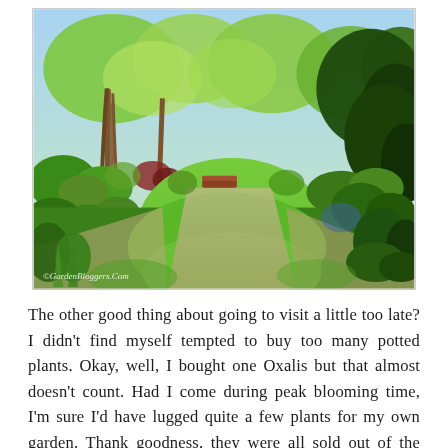[Figure (photo): A lush garden landscape with a green grass path winding between planted borders, trees in the background, and dense shrubs and plants on both sides. Bright spring foliage. Watermark reads ©GardenBloggers.Com]
The other good thing about going to visit a little too late? I didn't find myself tempted to buy too many potted plants. Okay, well, I bought one Oxalis but that almost doesn't count. Had I come during peak blooming time, I'm sure I'd have lugged quite a few plants for my own garden. Thank goodness, they were all sold out of the blue and red anemones that were potted up and could